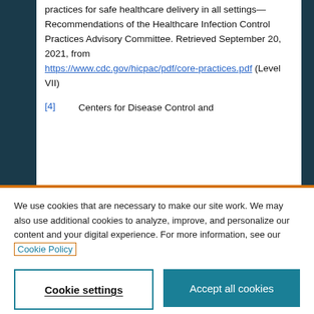practices for safe healthcare delivery in all settings—Recommendations of the Healthcare Infection Control Practices Advisory Committee. Retrieved September 20, 2021, from https://www.cdc.gov/hicpac/pdf/core-practices.pdf (Level VII)
[4]   Centers for Disease Control and
We use cookies that are necessary to make our site work. We may also use additional cookies to analyze, improve, and personalize our content and your digital experience. For more information, see our Cookie Policy
Cookie settings | Accept all cookies